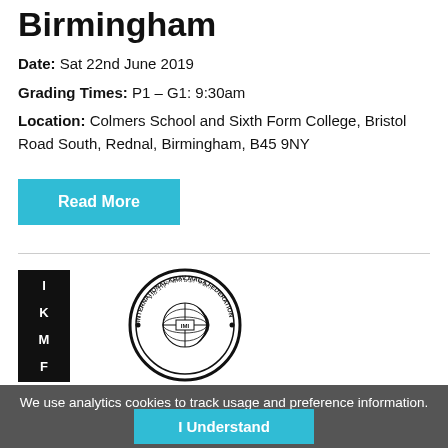Birmingham
Date: Sat 22nd June 2019
Grading Times: P1 – G1: 9:30am
Location: Colmers School and Sixth Form College, Bristol Road South, Rednal, Birmingham, B45 9NY
Read More
[Figure (logo): IKMF logo with text: IKMF on the left side in a black rectangular box, and a circular seal on the right reading INTERNATIONAL KRAV MAGA FEDERATION with Hebrew text and a globe/symbol in the center marked IMI]
Posted on 15-Mar-2019
We use analytics cookies to track usage and preference information.
I Understand